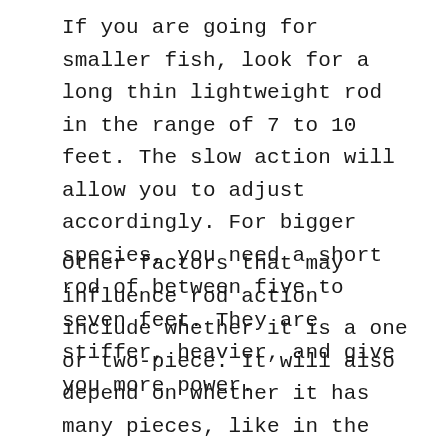If you are going for smaller fish, look for a long thin lightweight rod in the range of 7 to 10 feet. The slow action will allow you to adjust accordingly. For bigger species, you need a short rod of between five to seven feet. They are stiffer, heavier, and give you more power.
Other factors that may influence rod action include whether it is a one or two-piece. It will also depend on whether it has many pieces, like in the case of travel rods. Telescopic rods also have a role to play.